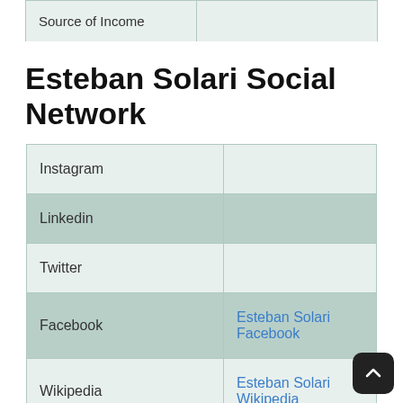| Source of Income |  |
| --- | --- |
Esteban Solari Social Network
|  |  |
| --- | --- |
| Instagram |  |
| Linkedin |  |
| Twitter |  |
| Facebook | Esteban Solari Facebook |
| Wikipedia | Esteban Solari Wikipedia |
| Imdb |  |